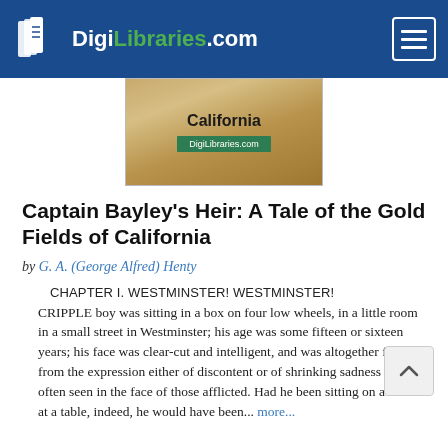DigiLibraries.com
[Figure (illustration): Book cover image showing 'California' text on a sandy/textured background with a green DigiLibraries.com badge]
Captain Bayley's Heir: A Tale of the Gold Fields of California
by G. A. (George Alfred) Henty
CHAPTER I. WESTMINSTER! WESTMINSTER!
CRIPPLE boy was sitting in a box on four low wheels, in a little room in a small street in Westminster; his age was some fifteen or sixteen years; his face was clear-cut and intelligent, and was altogether free from the expression either of discontent or of shrinking sadness so often seen in the face of those afflicted. Had he been sitting on a chair at a table, indeed, he would have been... more...